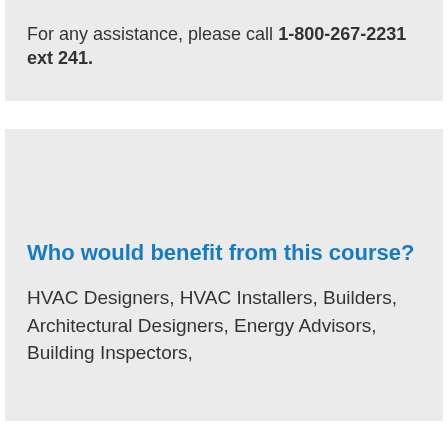For any assistance, please call 1-800-267-2231 ext 241.
Who would benefit from this course?
HVAC Designers, HVAC Installers, Builders, Architectural Designers, Energy Advisors, Building Inspectors,